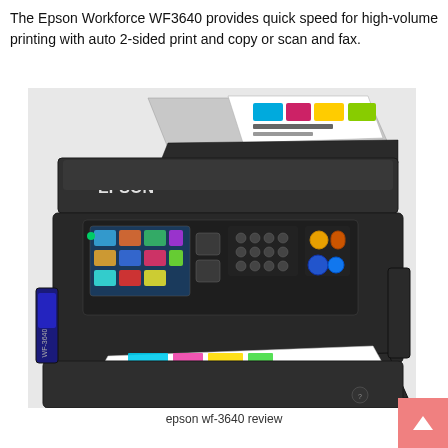The Epson Workforce WF3640 provides quick speed for high-volume printing with auto 2-sided print and copy or scan and fax.
[Figure (photo): Photo of the Epson Workforce WF-3640 all-in-one inkjet printer in dark gray/black, shown at an angle. The printer has a document feeder on top with a colorful printed page loaded, a touchscreen control panel with colorful icons, a keypad with buttons, and printed pages coming out of the front output tray. The EPSON logo is visible on the front-left of the machine.]
epson wf-3640 review